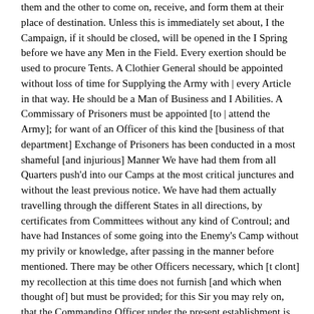them and the other to come on, receive, and form them at their place of destination. Unless this is immediately set about, I the Campaign, if it should be closed, will be opened in the I Spring before we have any Men in the Field. Every exertion should be used to procure Tents. A Clothier General should be appointed without loss of time for Supplying the Army with | every Article in that way. He should be a Man of Business and I Abilities. A Commissary of Prisoners must be appointed [to | attend the Army]; for want of an Officer of this kind the [business of that department] Exchange of Prisoners has been conducted in a most shameful [and injurious] Manner We have had them from all Quarters push'd into our Camps at the most critical junctures and without the least previous notice. We have had them actually travelling through the different States in all directions, by certificates from Committees without any kind of Controul; and have had Instances of some going into the Enemy's Camp without my privily or knowledge, after passing in the manner before mentioned. There may be other Officers necessary, which [t clont] my recollection at this time does not furnish [and which when thought of] but must be provided; for this Sir you may rely on, that the Commanding Officer under the present establishment is obliged to attend to the business of so many different departments as to render it impossible to conduct that of his own with the attention necessary, than which nothing can be more Injurious.